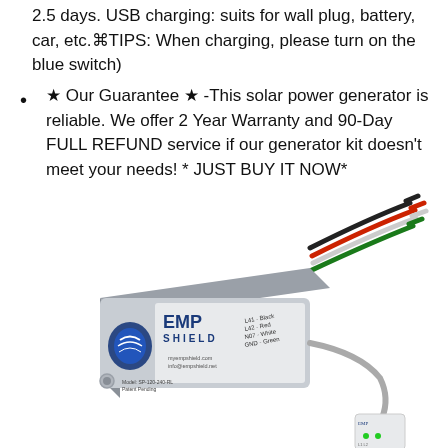2.5 days. USB charging: suits for wall plug, battery, car, etc.⌘TIPS: When charging, please turn on the blue switch)
★ Our Guarantee ★ -This solar power generator is reliable. We offer 2 Year Warranty and 90-Day FULL REFUND service if our generator kit doesn't meet your needs! * JUST BUY IT NOW*
[Figure (photo): Product photo of an EMP Shield device (Model: SP-120-240-RL, Patent Pending) — a grey rectangular enclosure with the EMP Shield logo, connected to a bundle of colored wires (black, red, white, green) and a separate small white outlet indicator device.]